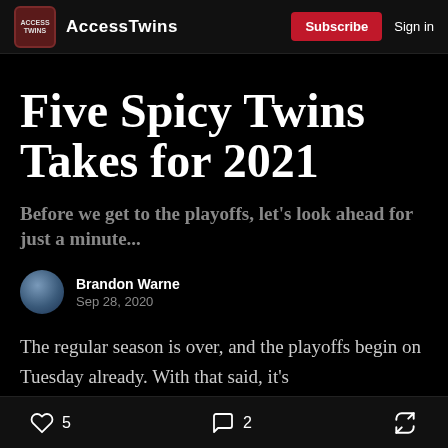AccessTwins  Subscribe  Sign in
Five Spicy Twins Takes for 2021
Before we get to the playoffs, let's look ahead for just a minute...
Brandon Warne
Sep 28, 2020
The regular season is over, and the playoffs begin on Tuesday already. With that said, it's
5  2